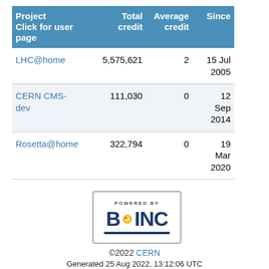| Project
Click for user page | Total credit | Average credit | Since |
| --- | --- | --- | --- |
| LHC@home | 5,575,621 | 2 | 15 Jul 2005 |
| CERN CMS-dev | 111,030 | 0 | 12 Sep 2014 |
| Rosetta@home | 322,794 | 0 | 19 Mar 2020 |
[Figure (logo): Powered by BOINC logo in a bordered rectangle]
©2022 CERN
Generated 25 Aug 2022, 13:12:06 UTC